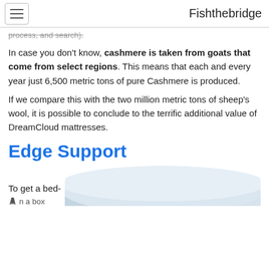Fishthebridge
process, and search).
In case you don't know, cashmere is taken from goats that come from select regions. This means that each and every year just 6,500 metric tons of pure Cashmere is produced.
If we compare this with the two million metric tons of sheep's wool, it is possible to conclude to the terrific additional value of DreamCloud mattresses.
Edge Support
To get a bed-
n a box